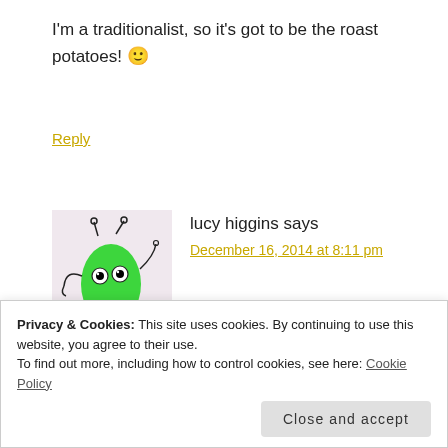I'm a traditionalist, so it's got to be the roast potatoes! 🙂
Reply
lucy higgins says
December 16, 2014 at 8:11 pm
[Figure (illustration): Green cartoon monster avatar on pink/lavender background]
the gammon
Privacy & Cookies: This site uses cookies. By continuing to use this website, you agree to their use. To find out more, including how to control cookies, see here: Cookie Policy
Close and accept
December 16, 2014 at 8:49 pm